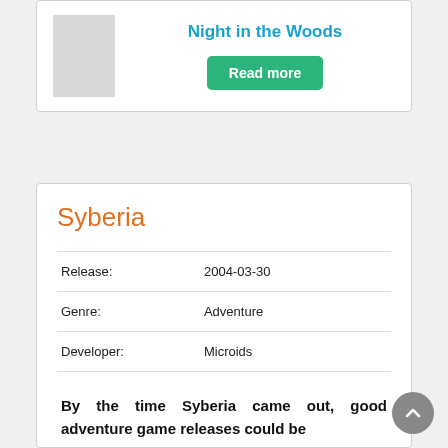[Figure (illustration): Gray placeholder thumbnail image for Night in the Woods game cover]
Night in the Woods
Read more
Syberia
| Release: | 2004-03-30 |
| Genre: | Adventure |
| Developer: | Microids |
By the time Syberia came out, good adventure game releases could be